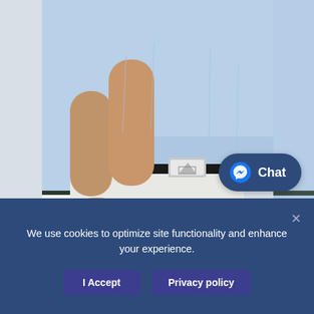[Figure (photo): Close-up photo of a person wearing a light blue knit sweater with dark trim on the cuffs, white trousers, and a black belt with a silver designer buckle. The person has their arms crossed.]
[Figure (other): Chat button with Facebook Messenger icon and the word 'Chat' in white text on a dark blue rounded rectangle background, positioned in the lower right of the photo.]
We use cookies to optimize site functionality and enhance your experience.
I Accept
Privacy policy